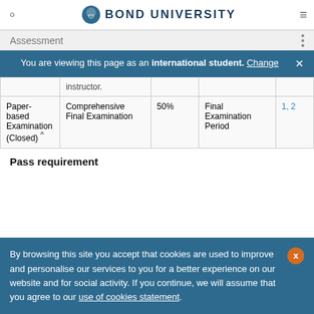BOND UNIVERSITY
Assessment
You are viewing this page as an international student. Change
|  |  |  |  |  |
| --- | --- | --- | --- | --- |
|  | instructor. |  |  |  |
| Paper-based Examination (Closed) ^ | Comprehensive Final Examination | 50% | Final Examination Period | 1, 2 |
Pass requirement
By browsing this site you accept that cookies are used to improve and personalise our services to you for a better experience on our website and for social activity. If you continue, we will assume that you agree to our use of cookies statement.